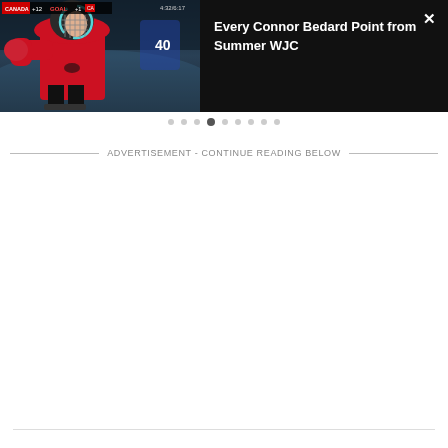[Figure (screenshot): Video player overlay showing a hockey player (Connor Bedard) in a Canada jersey with a helmet, on ice, with a scoreboard showing 'GOAL'. Dark background with video controls.]
Every Connor Bedard Point from Summer WJC
ADVERTISEMENT - CONTINUE READING BELOW